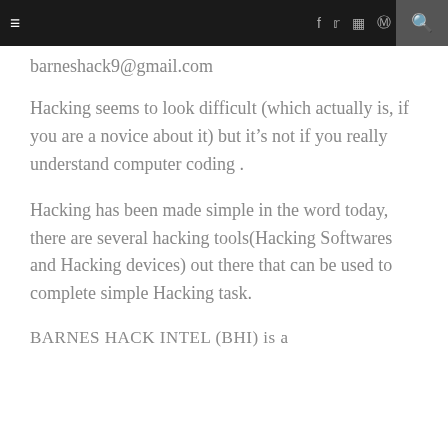≡  f  t  ☷  ⊕  ♥  g+  🔍
barneshack9@gmail.com
Hacking seems to look difficult (which actually is, if you are a novice about it) but it's not if you really understand computer coding .
Hacking has been made simple in the word today, there are several hacking tools(Hacking Softwares and Hacking devices) out there that can be used to complete simple Hacking task.
BARNES HACK INTEL (BHI) is a